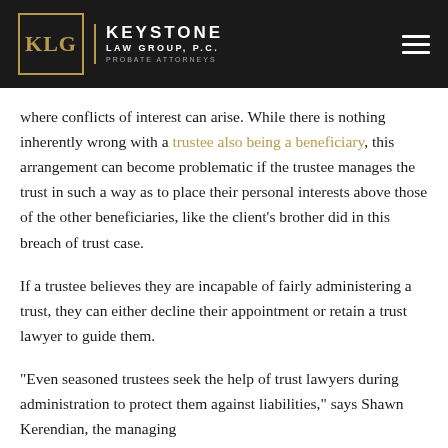[Figure (logo): Keystone Law Group, P.C. Probate Attorneys logo with KLG monogram on dark background header bar]
where conflicts of interest can arise. While there is nothing inherently wrong with a trustee also being a beneficiary, this arrangement can become problematic if the trustee manages the trust in such a way as to place their personal interests above those of the other beneficiaries, like the client’s brother did in this breach of trust case.
If a trustee believes they are incapable of fairly administering a trust, they can either decline their appointment or retain a trust lawyer to guide them.
“Even seasoned trustees seek the help of trust lawyers during administration to protect them against liabilities,” says Shawn Kerendian, the managing